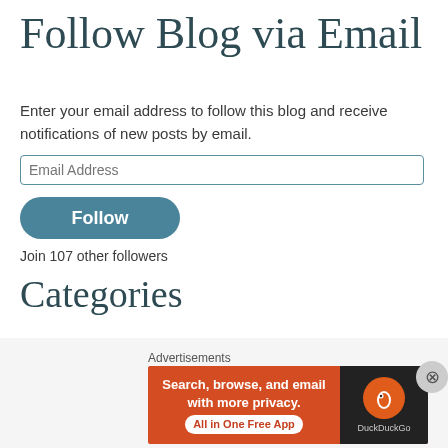Follow Blog via Email
Enter your email address to follow this blog and receive notifications of new posts by email.
Email Address
Follow
Join 107 other followers
Categories
Healing Autism (1)
Healing the Body (2)
Healing the Heart (1)
Advertisements
[Figure (screenshot): DuckDuckGo advertisement banner: 'Search, browse, and email with more privacy. All in One Free App' with DuckDuckGo logo on dark background.]